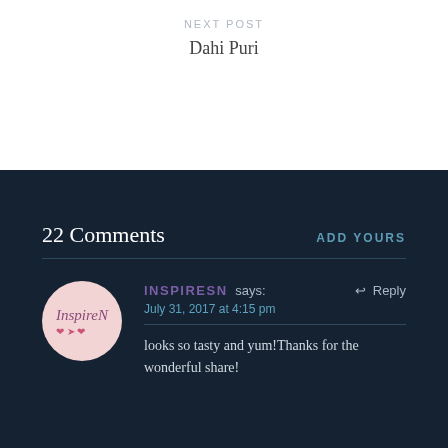NEXT POST
Dahi Puri
22 Comments
ADD YOURS
INSPIRESN says:
July 31, 2017 at 4:15 pm
looks so tasty and yum!Thanks for the wonderful share!